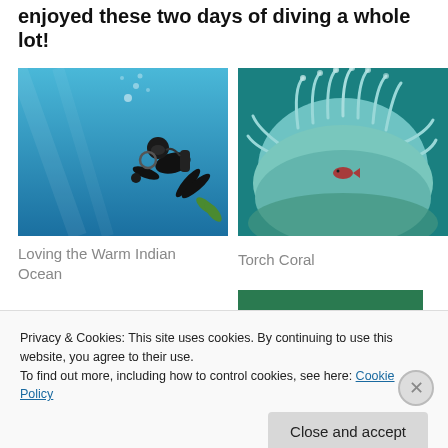enjoyed these two days of diving a whole lot!
[Figure (photo): Scuba diver underwater in the warm blue Indian Ocean]
[Figure (photo): Close-up of Torch Coral with a small red fish, underwater]
Loving the Warm Indian Ocean
Torch Coral
[Figure (photo): Partial view of underwater coral reef scene]
Privacy & Cookies: This site uses cookies. By continuing to use this website, you agree to their use.
To find out more, including how to control cookies, see here: Cookie Policy
Close and accept